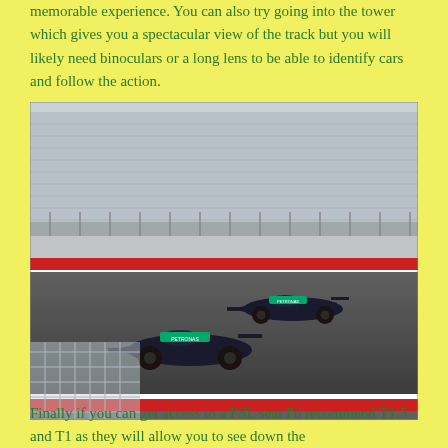memorable experience. You can also try going into the tower which gives you a spectacular view of the track but you will likely need binoculars or a long lens to be able to identify cars and follow the action.
[Figure (photo): Two Mercedes F1 cars racing on a circuit track with grandstand seating visible in the background and a chain-link fence in the foreground.]
Finally if you can get access to a PSL seat I'd recommend T1.5 and T1 as they will allow you to see down the